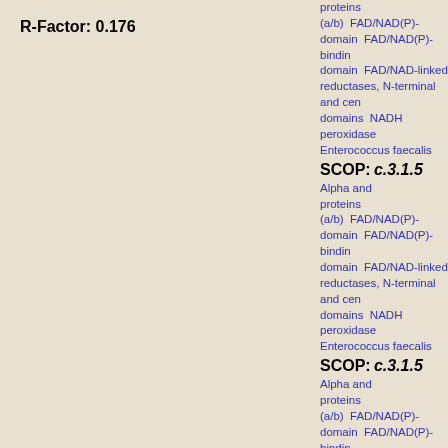R-Factor: 0.176
SCOP: c.3.1.5 Alpha and beta proteins (a/b) FAD/NAD(P)-binding domain FAD/NAD(P)-binding domain FAD/NAD-linked reductases, N-terminal and central domains NADH peroxidase Enterococcus faecalis
SCOP: c.3.1.5 Alpha and beta proteins (a/b) FAD/NAD(P)-binding domain FAD/NAD(P)-binding domain FAD/NAD-linked reductases, N-terminal and central domains NADH peroxidase Enterococcus faecalis
SCOP: c.3.1.5 Alpha and beta proteins (a/b) FAD/NAD(P)-binding domain FAD/NAD(P)-binding domain FAD/NAD-linked reductases, N-terminal and central domains NADH peroxidase Enterococcus faecalis
SCOP: d.87.1.1 Alpha and beta proteins (a+b) CO dehydrogenase flavoprotein C-domain-like FAD/NAD-linked reductases, dimerisation (C-terminal) domain FAD/NAD-linked reductases, dimerisation (C-terminal) domain NADH peroxidase Enterococcus faecalis
SCO...